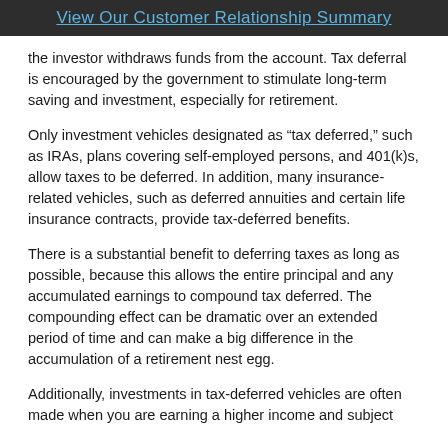View Our Customer Relationship Summary
the investor withdraws funds from the account. Tax deferral is encouraged by the government to stimulate long-term saving and investment, especially for retirement.
Only investment vehicles designated as “tax deferred,” such as IRAs, plans covering self-employed persons, and 401(k)s, allow taxes to be deferred. In addition, many insurance-related vehicles, such as deferred annuities and certain life insurance contracts, provide tax-deferred benefits.
There is a substantial benefit to deferring taxes as long as possible, because this allows the entire principal and any accumulated earnings to compound tax deferred. The compounding effect can be dramatic over an extended period of time and can make a big difference in the accumulation of a retirement nest egg.
Additionally, investments in tax-deferred vehicles are often made when you are earning a higher income and subject